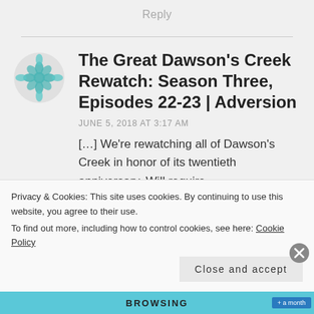Reply
The Great Dawson’s Creek Rewatch: Season Three, Episodes 22-23 | Adversion
JUNE 5, 2018 AT 3:17 AM
[…] We’re rewatching all of Dawson’s Creek in honor of its twentieth anniversary. Will require
Privacy & Cookies: This site uses cookies. By continuing to use this website, you agree to their use. To find out more, including how to control cookies, see here: Cookie Policy
Close and accept